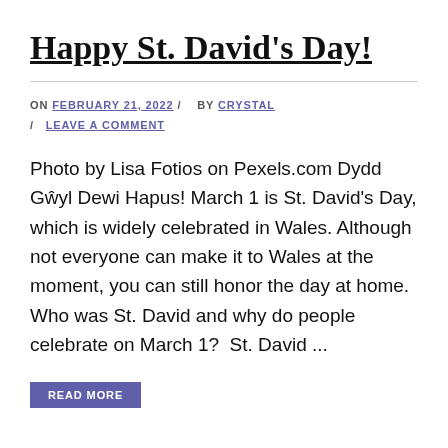Happy St. David's Day!
ON FEBRUARY 21, 2022 / BY CRYSTAL / LEAVE A COMMENT
Photo by Lisa Fotios on Pexels.com Dydd Gŵyl Dewi Hapus! March 1 is St. David's Day, which is widely celebrated in Wales. Although not everyone can make it to Wales at the moment, you can still honor the day at home. Who was St. David and why do people celebrate on March 1?  St. David ...